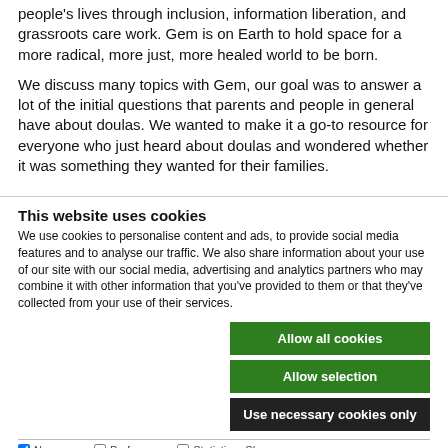people's lives through inclusion, information liberation, and grassroots care work. Gem is on Earth to hold space for a more radical, more just, more healed world to be born.
We discuss many topics with Gem, our goal was to answer a lot of the initial questions that parents and people in general have about doulas. We wanted to make it a go-to resource for everyone who just heard about doulas and wondered whether it was something they wanted for their families.
This website uses cookies
We use cookies to personalise content and ads, to provide social media features and to analyse our traffic. We also share information about your use of our site with our social media, advertising and analytics partners who may combine it with other information that you've provided to them or that they've collected from your use of their services.
Allow all cookies
Allow selection
Use necessary cookies only